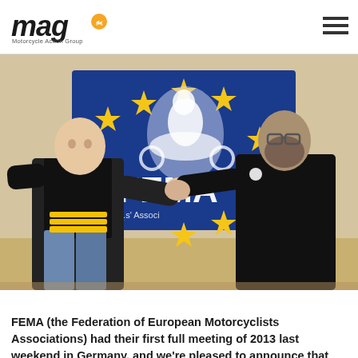MAG - Motorcycle Action Group
[Figure (photo): Two men shaking hands in front of a blue FEMA (Federation of European Motorcyclists Associations) banner with yellow stars and a white motorcyclist silhouette. The man on the left wears a black leather vest over a black shirt with jeans; the man on the right wears a black zip-up hoodie.]
FEMA (the Federation of European Motorcyclists Associations) had their first full meeting of 2013 last weekend in Germany, and we're pleased to announce that MAG (UK) continues its involvement at the centre of riders' rights in